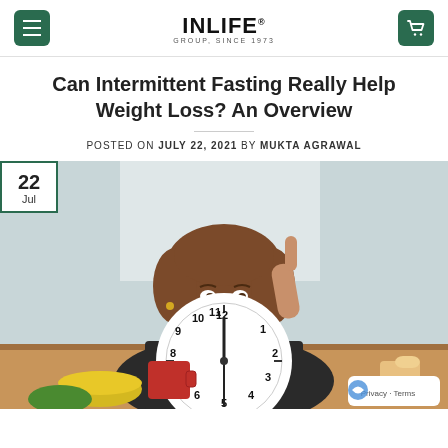INLIFE GROUP, SINCE 1973
Can Intermittent Fasting Really Help Weight Loss? An Overview
POSTED ON JULY 22, 2021 BY MUKTA AGRAWAL
[Figure (photo): Woman holding a large clock at a table with food items, pointing one finger up. Date badge showing 22 Jul overlaid on top-left corner of the image.]